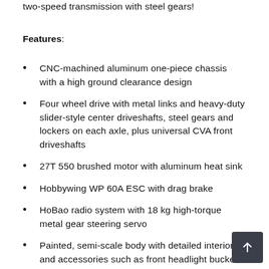two-speed transmission with steel gears!
Features:
CNC-machined aluminum one-piece chassis with a high ground clearance design
Four wheel drive with metal links and heavy-duty slider-style center driveshafts, steel gears and lockers on each axle, plus universal CVA front driveshafts
27T 550 brushed motor with aluminum heat sink
Hobbywing WP 60A ESC with drag brake
HoBao radio system with 18 kg high-torque metal gear steering servo
Painted, semi-scale body with detailed interior and accessories such as front headlight buckets for LED